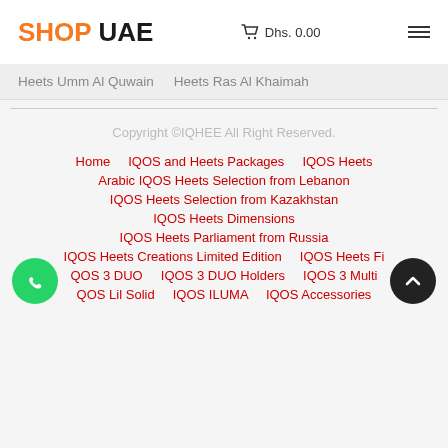SHOP UAE   🛒 Dhs. 0.00   ☰
Heets Umm Al Quwain
Heets Ras Al Khaimah
Copyright ©IQHEE All Right Reserved.
Home
IQOS and Heets Packages
IQOS Heets
Arabic IQOS Heets Selection from Lebanon
IQOS Heets Selection from Kazakhstan
IQOS Heets Dimensions
IQOS Heets Parliament from Russia
IQOS Heets Creations Limited Edition
IQOS Heets Fi…
…QOS 3 DUO
IQOS 3 DUO Holders
IQOS 3 Multi…
…QOS Lil Solid
IQOS ILUMA
IQOS Accessories